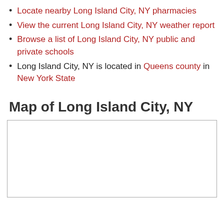Locate nearby Long Island City, NY pharmacies
View the current Long Island City, NY weather report
Browse a list of Long Island City, NY public and private schools
Long Island City, NY is located in Queens county in New York State
Map of Long Island City, NY
[Figure (map): Map of Long Island City, NY — blank white map area with gray border]